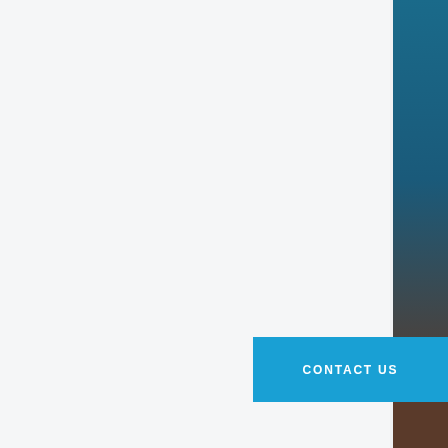Phone
Neighborhood or Property of Interest
Message
SUBMIT
CONTACT US